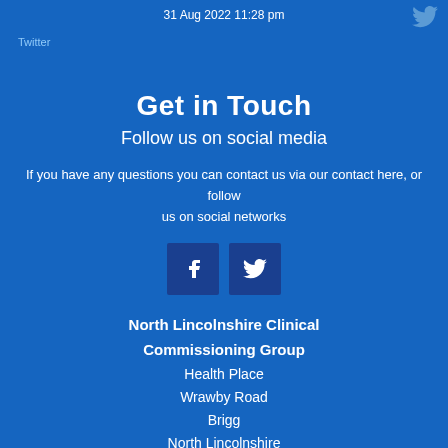31 Aug 2022 11:28 pm
Twitter
Get in Touch
Follow us on social media
If you have any questions you can contact us via our contact here, or follow us on social networks
[Figure (other): Facebook and Twitter social media icon buttons]
North Lincolnshire Clinical Commissioning Group
Health Place
Wrawby Road
Brigg
North Lincolnshire
DN20 8GS